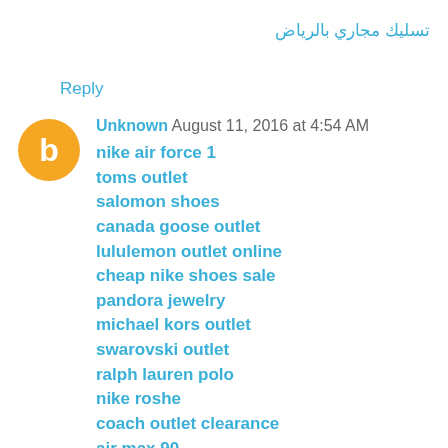تسليك مجاري بالرياض
Reply
Unknown  August 11, 2016 at 4:54 AM
nike air force 1
toms outlet
salomon shoes
canada goose outlet
lululemon outlet online
cheap nike shoes sale
pandora jewelry
michael kors outlet
swarovski outlet
ralph lauren polo
nike roshe
coach outlet clearance
air max 90
calvin klein underwear
lululemon pants